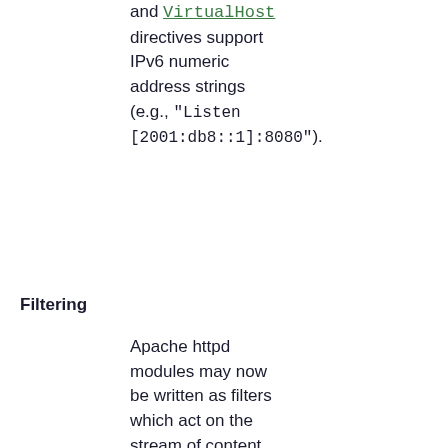and VirtualHost directives support IPv6 numeric address strings (e.g., "Listen [2001:db8::1]:8080").
Filtering
Apache httpd modules may now be written as filters which act on the stream of content as it is delivered to or from the server. This allows, for example, the output of CGI scripts to be parsed for Server Side Include directives using the INCLUDES filter in mod_include. The module